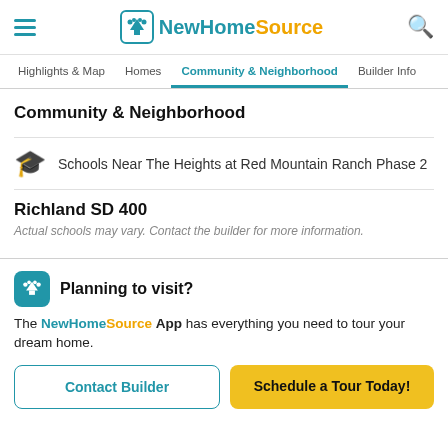NewHomeSource
Community & Neighborhood (nav tab)
Community & Neighborhood
Schools Near The Heights at Red Mountain Ranch Phase 2
Richland SD 400
Actual schools may vary. Contact the builder for more information.
Planning to visit?
The NewHomeSource App has everything you need to tour your dream home.
Contact Builder
Schedule a Tour Today!